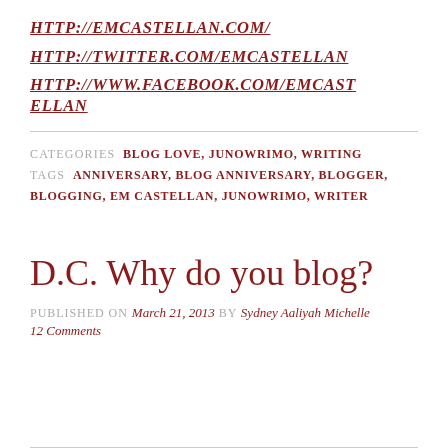HTTP://EMCASTELLAN.COM/
HTTP://TWITTER.COM/EMCASTELLAN
HTTP://WWW.FACEBOOK.COM/EMCASTELLAN
CATEGORIES  BLOG LOVE, JUNOWRIMO, WRITING
TAGS  ANNIVERSARY, BLOG ANNIVERSARY, BLOGGER, BLOGGING, EM CASTELLAN, JUNOWRIMO, WRITER
D.C. Why do you blog?
PUBLISHED ON March 21, 2013 by Sydney Aaliyah Michelle
12 Comments